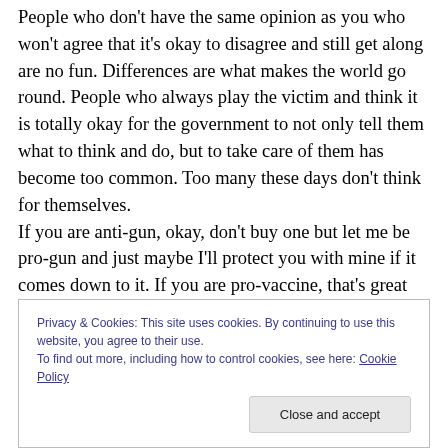People who don't have the same opinion as you who won't agree that it's okay to disagree and still get along are no fun. Differences are what makes the world go round. People who always play the victim and think it is totally okay for the government to not only tell them what to think and do, but to take care of them has become too common. Too many these days don't think for themselves. If you are anti-gun, okay, don't buy one but let me be pro-gun and just maybe I'll protect you with mine if it comes down to it. If you are pro-vaccine, that's great for you but let me be anti-vaccine without trying to make me feel
Privacy & Cookies: This site uses cookies. By continuing to use this website, you agree to their use. To find out more, including how to control cookies, see here: Cookie Policy